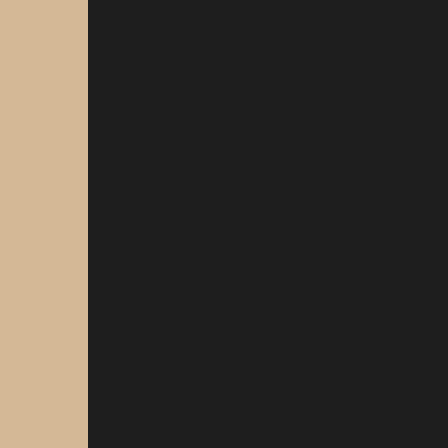camera, or both cannot pass through it.
Bounds Type: Choose from Bounding Box, Bounding Sphere, Convex Hull, and Triangle Mesh. In that order, they rank from most general to most accurate as far as bounds. Generally, for simple objects, Convex Hull is best, while more complex objects or single planes use Triangle Mesh.
Blocks Avatars: Exactly what it says: keeps the